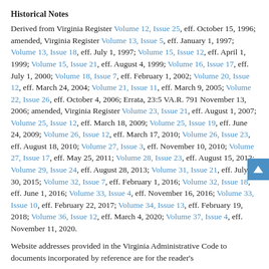Historical Notes
Derived from Virginia Register Volume 12, Issue 25, eff. October 15, 1996; amended, Virginia Register Volume 13, Issue 5, eff. January 1, 1997; Volume 13, Issue 18, eff. July 1, 1997; Volume 15, Issue 12, eff. April 1, 1999; Volume 15, Issue 21, eff. August 4, 1999; Volume 16, Issue 17, eff. July 1, 2000; Volume 18, Issue 7, eff. February 1, 2002; Volume 20, Issue 12, eff. March 24, 2004; Volume 21, Issue 11, eff. March 9, 2005; Volume 22, Issue 26, eff. October 4, 2006; Errata, 23:5 VA.R. 791 November 13, 2006; amended, Virginia Register Volume 23, Issue 21, eff. August 1, 2007; Volume 25, Issue 12, eff. March 18, 2009; Volume 25, Issue 19, eff. June 24, 2009; Volume 26, Issue 12, eff. March 17, 2010; Volume 26, Issue 23, eff. August 18, 2010; Volume 27, Issue 3, eff. November 10, 2010; Volume 27, Issue 17, eff. May 25, 2011; Volume 28, Issue 23, eff. August 15, 2012; Volume 29, Issue 24, eff. August 28, 2013; Volume 31, Issue 21, eff. July 30, 2015; Volume 32, Issue 7, eff. February 1, 2016; Volume 32, Issue 18, eff. June 1, 2016; Volume 33, Issue 4, eff. November 16, 2016; Volume 33, Issue 10, eff. February 22, 2017; Volume 34, Issue 13, eff. February 19, 2018; Volume 36, Issue 12, eff. March 4, 2020; Volume 37, Issue 4, eff. November 11, 2020.
Website addresses provided in the Virginia Administrative Code to documents incorporated by reference are for the reader's